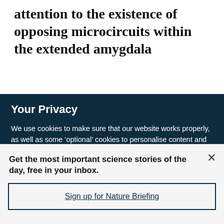attention to the existence of opposing microcircuits within the extended amygdala
Your Privacy
We use cookies to make sure that our website works properly, as well as some ‘optional’ cookies to personalise content and advertising, provide social media features and analyse how people use our site. By accepting some or all optional cookies you give consent to the processing of your personal data, including transfer to third parties, some in countries outside of the European Economic Area that do not offer the same data protection standards as the country where you live. You can decide which optional cookies to accept by clicking on ‘Manage Settings’, where you can
Get the most important science stories of the day, free in your inbox.
Sign up for Nature Briefing